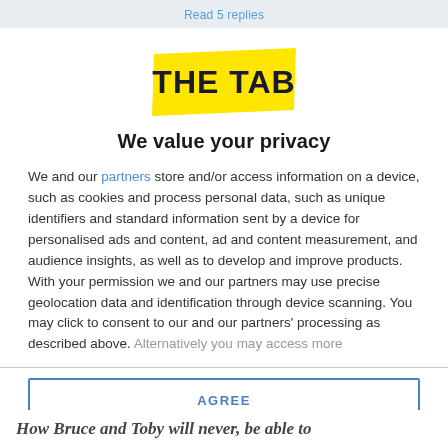Read 5 replies
[Figure (logo): The Tab logo — yellow banner with bold dark text reading THE TAB]
We value your privacy
We and our partners store and/or access information on a device, such as cookies and process personal data, such as unique identifiers and standard information sent by a device for personalised ads and content, ad and content measurement, and audience insights, as well as to develop and improve products. With your permission we and our partners may use precise geolocation data and identification through device scanning. You may click to consent to our and our partners' processing as described above. Alternatively you may access more
AGREE
MORE OPTIONS
How Bruce and Toby will never be able to